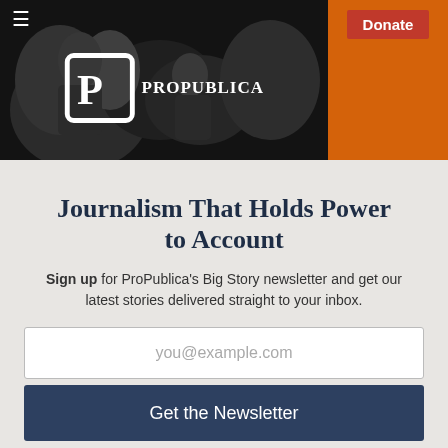[Figure (screenshot): ProPublica website header with navigation bar showing hamburger menu and ProPublica logo on a dark photo background, and an orange Donate section on the right with a red Donate button]
Journalism That Holds Power to Account
Sign up for ProPublica's Big Story newsletter and get our latest stories delivered straight to your inbox.
you@example.com
Get the Newsletter
No thanks, I'm all set
This site is protected by reCAPTCHA and the Google Privacy Policy and Terms of Service apply.